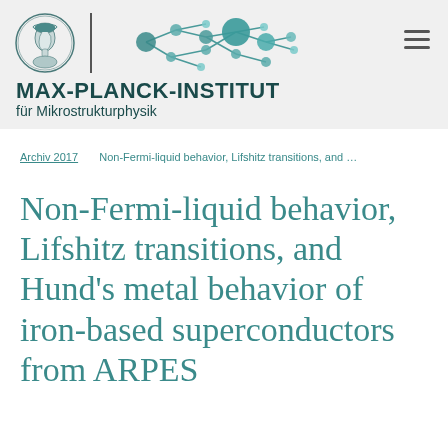[Figure (logo): Max-Planck-Institut für Mikrostrukturphysik logo with Minerva coin, vertical divider, network diagram, institute name and hamburger menu]
Archiv 2017   Non-Fermi-liquid behavior, Lifshitz transitions, and Hund's m...
Non-Fermi-liquid behavior, Lifshitz transitions, and Hund's metal behavior of iron-based superconductors from ARPES